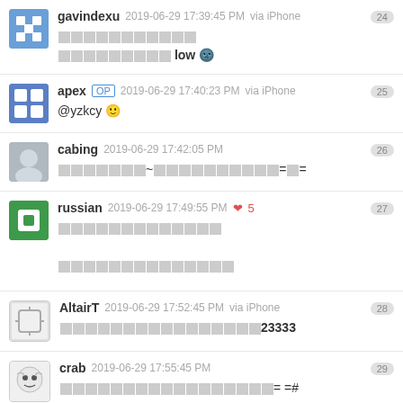gavindexu 2019-06-29 17:39:45 PM via iPhone [24] [CJK text] low [emoji]
apex OP 2019-06-29 17:40:23 PM via iPhone [25] @yzkcy [emoji]
cabing 2019-06-29 17:42:05 PM [26] [CJK text]~[CJK text]=[emoji]=
russian 2019-06-29 17:49:55 PM ❤ 5 [27] [CJK text] [CJK text]
AltairT 2019-06-29 17:52:45 PM via iPhone [28] [CJK text]23333
crab 2019-06-29 17:55:45 PM [29] [CJK text]= =#
qiuBiLiBiLima 2019-06-29 18:14:44 PM